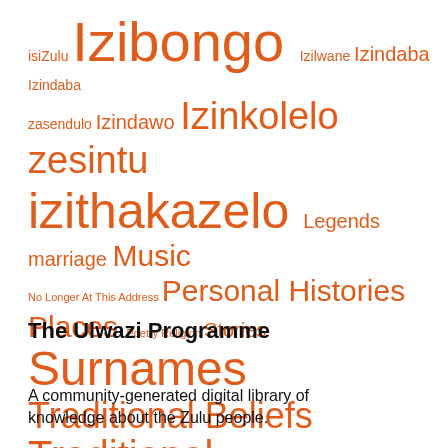[Figure (infographic): Word cloud of tags/topics in orange, varying font sizes indicating frequency: isiZulu, Izibongo (large), Izilwane, Izindaba, Izindaba zasendulo, Izindawo, Izinkolelo zesintu (large), izithakazelo (large), Legends, marriage, Music (large), No Longer At This Address, Personal Histories (large), Places (large), Poetry, Religion, Stories, Surnames (very large), Traditional Beliefs (large), Traditional Ceremonies (very large), Traditional customs (large), traditional medicine, Umculo (large), Umshado]
The Ulwazi Programme
A community-generated digital library of knowledge about the Zulu people.